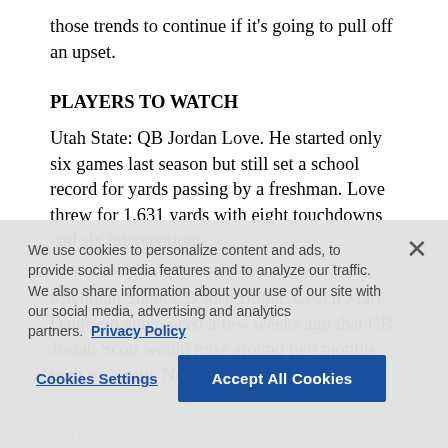those trends to continue if it's going to pull off an upset.
PLAYERS TO WATCH
Utah State: QB Jordan Love. He started only six games last season but still set a school record for yards passing by a freshman. Love threw for 1,631 yards with eight touchdowns and six interceptions.
Michigan State: CB Josh Butler. Coach Mark Dantonio announced a few weeks ago that CB Josiah Scott would miss around two months with an injury. Now Butler is atop the depth chart at cornerback. He
We use cookies to personalize content and ads, to provide social media features and to analyze our traffic. We also share information about your use of our site with our social media, advertising and analytics partners. Privacy Policy
Cookies Settings
Accept All Cookies